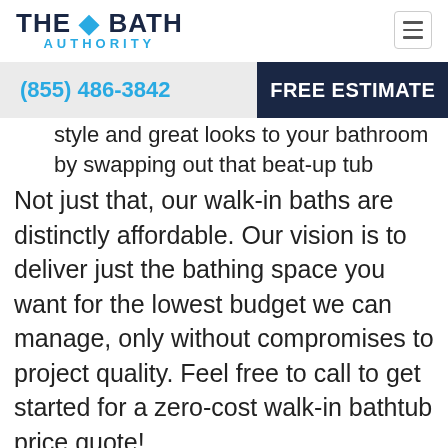[Figure (logo): The Bath Authority logo — bold dark navy text 'THE BATH' with a blue water drop icon, and 'AUTHORITY' in blue spaced letters below]
(855) 486-3842
FREE ESTIMATE
style and great looks to your bathroom by swapping out that beat-up tub Not just that, our walk-in baths are distinctly affordable. Our vision is to deliver just the bathing space you want for the lowest budget we can manage, only without compromises to project quality. Feel free to call to get started for a zero-cost walk-in bathtub price quote!